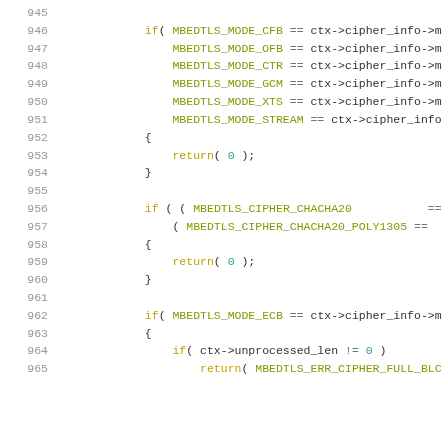Source code listing lines 945-965, C code for cipher mode checking using mbedTLS library functions